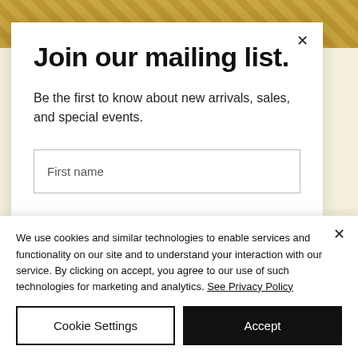[Figure (photo): Partial background image visible behind modal, appears to be a yellowish/golden toned artwork or decorative image]
Join our mailing list.
Be the first to know about new arrivals, sales, and special events.
First name
We use cookies and similar technologies to enable services and functionality on our site and to understand your interaction with our service. By clicking on accept, you agree to our use of such technologies for marketing and analytics. See Privacy Policy
Cookie Settings
Accept